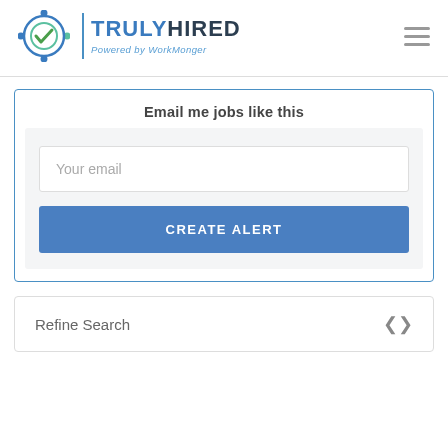[Figure (logo): TrulyHired logo with circular icon and text 'TRULYHIRED Powered by WorkMonger']
Email me jobs like this
Your email
CREATE ALERT
Refine Search